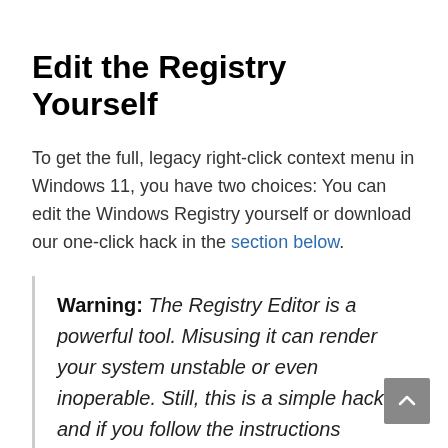Edit the Registry Yourself
To get the full, legacy right-click context menu in Windows 11, you have two choices: You can edit the Windows Registry yourself or download our one-click hack in the section below.
Warning: The Registry Editor is a powerful tool. Misusing it can render your system unstable or even inoperable. Still, this is a simple hack, and if you follow the instructions completely, you shouldn't have any problems. If you haven't used the Registry Editor before, consider